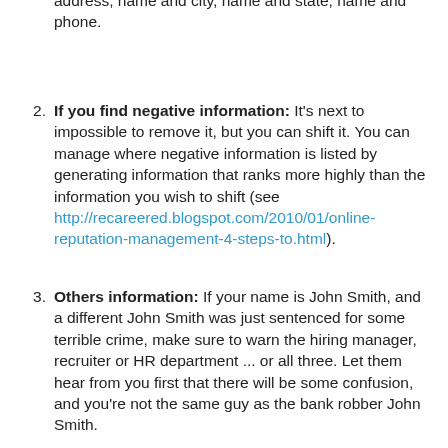address, name and city, name and state, name and phone.
If you find negative information: It's next to impossible to remove it, but you can shift it. You can manage where negative information is listed by generating information that ranks more highly than the information you wish to shift (see http://recareered.blogspot.com/2010/01/online-reputation-management-4-steps-to.html).
Others information: If your name is John Smith, and a different John Smith was just sentenced for some terrible crime, make sure to warn the hiring manager, recruiter or HR department ... or all three. Let them hear from you first that there will be some confusion, and you're not the same guy as the bank robber John Smith.